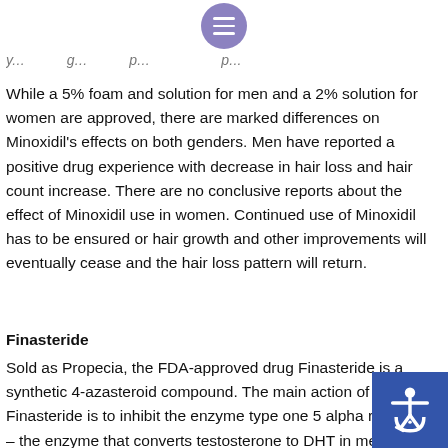y... g... p... p...
While a 5% foam and solution for men and a 2% solution for women are approved, there are marked differences on Minoxidil's effects on both genders. Men have reported a positive drug experience with decrease in hair loss and hair count increase. There are no conclusive reports about the effect of Minoxidil use in women. Continued use of Minoxidil has to be ensured or hair growth and other improvements will eventually cease and the hair loss pattern will return.
Finasteride
Sold as Propecia, the FDA-approved drug Finasteride is a synthetic 4-azasteroid compound. The main action of Finasteride is to inhibit the enzyme type one 5 alpha reductase – the enzyme that converts testosterone to DHT in men. DHT is